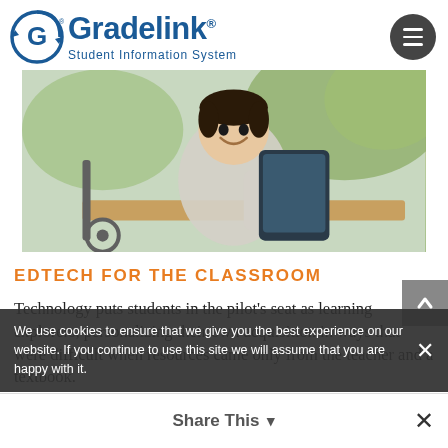[Figure (logo): Gradelink Student Information System logo with circular G icon in blue, and hamburger menu button in dark circle]
[Figure (photo): A smiling young student in a wheelchair using a tablet outdoors]
EDTECH FOR THE CLASSROOM
Technology puts students in the pilot's seat as learning explorers, personalizing their own acquisition in ways that were difficult when resources came only from the teacher and a textbook.
We use cookies to ensure that we give you the best experience on our website. If you continue to use this site we will assume that you are happy with it.
Share This